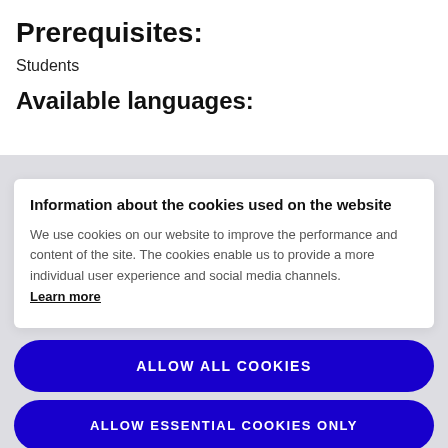Prerequisites:
Students
Available languages:
Information about the cookies used on the website
We use cookies on our website to improve the performance and content of the site. The cookies enable us to provide a more individual user experience and social media channels. Learn more
ALLOW ALL COOKIES
ALLOW ESSENTIAL COOKIES ONLY
COOKIE SETTINGS